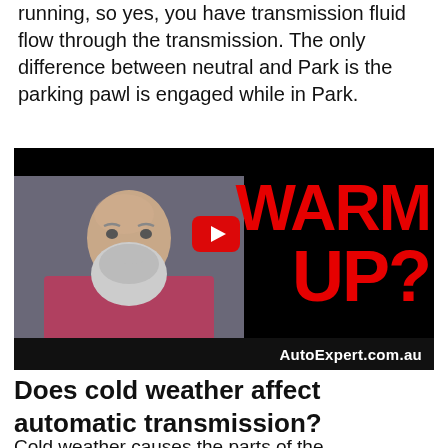running, so yes, you have transmission fluid flow through the transmission. The only difference between neutral and Park is the parking pawl is engaged while in Park.
[Figure (screenshot): Video thumbnail for AutoExpert.com.au showing a bald bearded man with large red text reading 'WARM UP?' and a YouTube play button overlay]
Does cold weather affect automatic transmission?
Cold weather causes the parts of the transmission to contract, and...